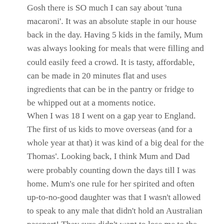Gosh there is SO much I can say about 'tuna macaroni'. It was an absolute staple in our house back in the day. Having 5 kids in the family, Mum was always looking for meals that were filling and could easily feed a crowd. It is tasty, affordable, can be made in 20 minutes flat and uses ingredients that can be in the pantry or fridge to be whipped out at a moments notice.
When I was 18 I went on a gap year to England. The first of us kids to move overseas (and for a whole year at that) it was kind of a big deal for the Thomas'. Looking back, I think Mum and Dad were probably counting down the days till I was home. Mum's one rule for her spirited and often up-to-no-good daughter was that I wasn't allowed to speak to any male that didn't hold an Australian passport! They sure didn't want to lose me to the mother country for good.